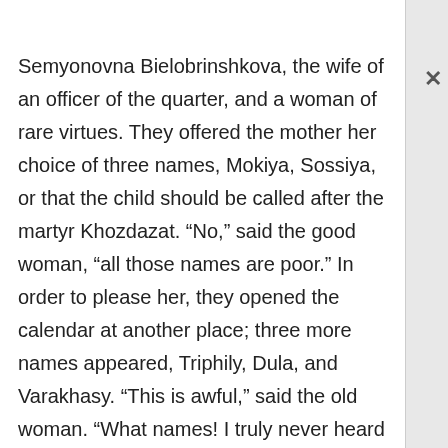Semyonovna Bielobrinshkova, the wife of an officer of the quarter, and a woman of rare virtues. They offered the mother her choice of three names, Mokiya, Sossiya, or that the child should be called after the martyr Khozdazat. “No,” said the good woman, “all those names are poor.” In order to please her, they opened the calendar at another place; three more names appeared, Triphily, Dula, and Varakhasy. “This is awful,” said the old woman. “What names! I truly never heard the like. I might have put up with Varadat or Varukh, but not Triphily and Varakhasy!” They turned to another page and found Pavsikakhy and Vakhtisy. “Now I see,”